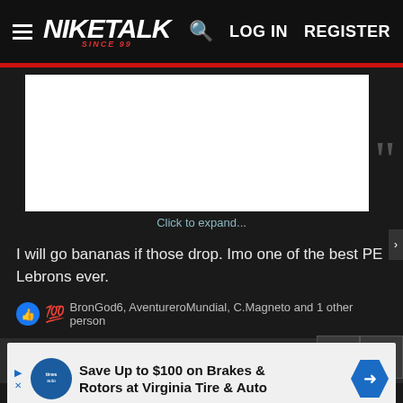NIKETALK SINCE 99 — LOG IN  REGISTER
[Figure (screenshot): Collapsed quote block showing a white rectangle placeholder with a click-to-expand link below it and a large grey quotation mark on the right side.]
Click to expand...
I will go bananas if those drop. Imo one of the best PE Lebrons ever.
BronGod6, AventureroMundial, C.Magneto and 1 other person
Jan 20, 2022   #80
BronGod6
[Figure (screenshot): Advertisement banner: Save Up to $100 on Brakes & Rotors at Virginia Tire & Auto]